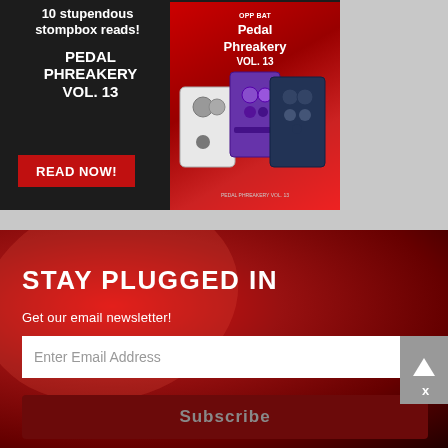[Figure (illustration): Advertisement for Pedal Phreakery Vol. 13 on dark background with book cover showing guitar pedals on red background. Text: 'stupendous stompbox reads!', 'PEDAL PHREAKERY VOL. 13', 'READ NOW!' button in red.]
[Figure (illustration): Red gradient section with newsletter signup. Text: 'STAY PLUGGED IN', 'Get our email newsletter!', email input field, Subscribe button, scroll-to-top button, X close button.]